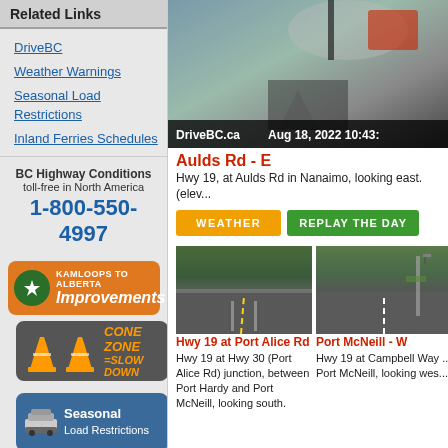Related Links
DriveBC
Weather Warnings
Seasonal Load Restrictions
Inland Ferries Schedules
BC Highway Conditions toll-free in North America 1-800-550-4997
[Figure (illustration): Kamloops to Alberta Improvements banner (orange)]
[Figure (illustration): Cone Zone - Slow Down banner (grey/orange)]
[Figure (illustration): Seasonal Load Restrictions banner (blue)]
[Figure (illustration): Connect With Us On banner (teal)]
[Figure (photo): Traffic camera: DriveBC.ca Aug 18, 2022 10:43]
Aulds Rd - E
Hwy 19, at Aulds Rd in Nanaimo, looking east. (elev...
[Figure (photo): Button: WEATHER (orange)]
[Figure (photo): Button: REPLAY THE DAY (green)]
[Figure (photo): Traffic camera: Hwy 19 at Port Alice Rd, looking south]
Hwy 19 at Port Alice Rd
Hwy 19 at Hwy 30 (Port Alice Rd) junction, between Port Hardy and Port McNeill, looking south.
[Figure (photo): Traffic camera: Port McNeill - W, Hwy 19 at Campbell Way]
Port McNeill - W
Hwy 19 at Campbell Way ... Port McNeill, looking wes...